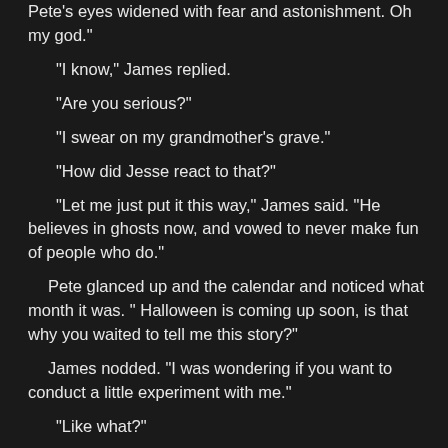Pete's eyes widened with fear and astonishment. Oh my god.
"I know," James replied.
"Are you serious?"
"I swear on my grandmother's grave."
"How did Jesse react to that?"
"Let me just put it this way," James said. "He believes in ghosts now, and vowed to never make fun of people who do."
Pete glanced up and the calendar and noticed what month it was. " Halloween is coming up soon, is that why you waited to tell me this story?"
James nodded. "I was wondering if you want to conduct a little experiment with me."
"Like what?"
"Well, it's said that even though ghosts don't always make themselves visble through apparitions, it has been documented that photographs pick up things the human eye misses. I want to take a few pictures